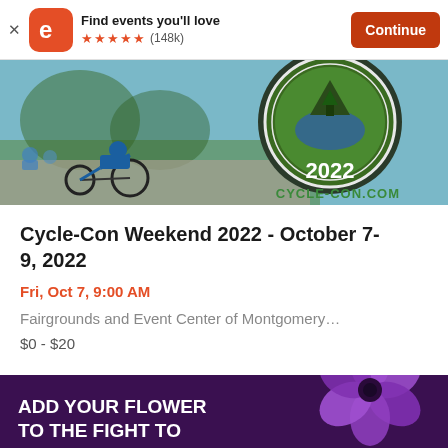Find events you'll love ★★★★★ (148k) Continue
[Figure (photo): Cycle-Con Weekend 2022 event banner showing a recumbent cyclist on a path, with a circular logo reading 2022, and text CYCLE-CON.COM]
Cycle-Con Weekend 2022 - October 7-9, 2022
Fri, Oct 7, 9:00 AM
Fairgrounds and Event Center of Montgomery…
$0 - $20
[Figure (photo): Purple promotional banner with text ADD YOUR FLOWER TO THE FIGHT TO and a large purple flower illustration on the right]